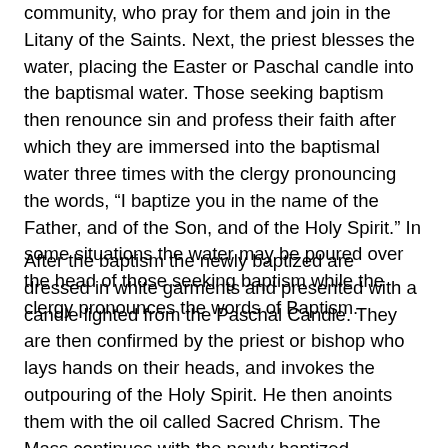community, who pray for them and join in the Litany of the Saints. Next, the priest blesses the water, placing the Easter or Paschal candle into the baptismal water. Those seeking baptism then renounce sin and profess their faith after which they are immersed into the baptismal water three times with the clergy pronouncing the words, “I baptize you in the name of the Father, and of the Son, and of the Holy Spirit.” In some situations the water may be poured over the head of those seeking baptism while the clergy pronounces the words of Baptism.
After the baptism the newly baptized are dressed in white garments and presented with a candle lighted from the Paschal Candle. They are then confirmed by the priest or bishop who lays hands on their heads, and invokes the outpouring of the Holy Spirit. He then anoints them with the oil called Sacred Chrism. The Mass continues with the newly baptized participating in the general intercessions and in bringing gifts to the altar. At Communion, the newly baptized receives the Eucharist, Christ’s Body and Blood, for the first time.